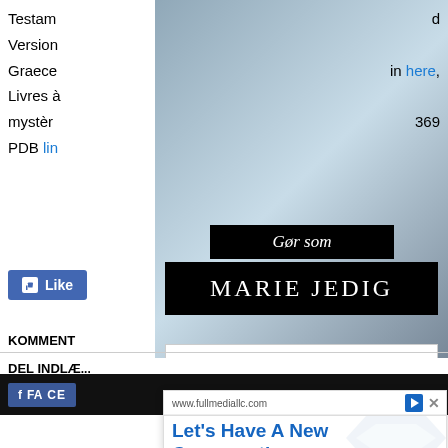Testam...
Version
Graece
Livres à
mystér... 369
PDB lin...
[Figure (photo): Woman in mint green knit sweater standing at train station, advertisement for Marie Jedig blog. Black banners overlay the photo reading 'Gør som' (italic) and 'MARIE JEDIG' in large serif letters, with a white banner at bottom reading 'KLIK HER OG OPRET DIN EGEN GRATIS BLOG']
Like
KOMMENT...
DEL INDT...
F F...   IL
[Figure (advertisement): Ad popup from www.fullmediallc.com with blue text reading 'Let's Have A New Conversation']